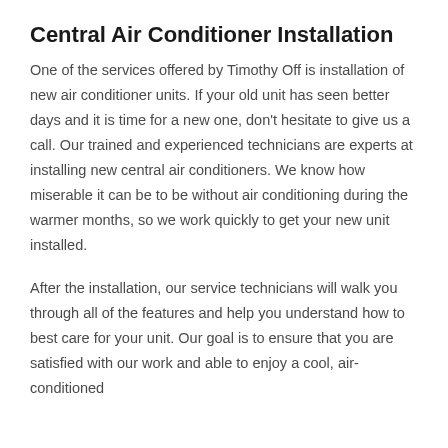Central Air Conditioner Installation
One of the services offered by Timothy Off is installation of new air conditioner units. If your old unit has seen better days and it is time for a new one, don't hesitate to give us a call. Our trained and experienced technicians are experts at installing new central air conditioners. We know how miserable it can be to be without air conditioning during the warmer months, so we work quickly to get your new unit installed.
After the installation, our service technicians will walk you through all of the features and help you understand how to best care for your unit. Our goal is to ensure that you are satisfied with our work and able to enjoy a cool, air-conditioned